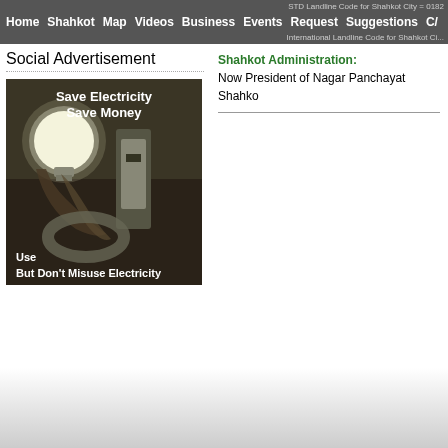STD Landline Code for Shahkot City = 0182 | International Landline Code for Shahkot City
Home  Shahkot  Map  Videos  Business  Events  Request  Suggestions  C/
Social Advertisement
[Figure (photo): Sepia-toned photo of a light bulb in a socket with text 'Save Electricity Save Money' at top and 'Use But Don't Misuse Electricity' at bottom]
Shahkot Administration: Now President of Nagar Panchayat Shahko